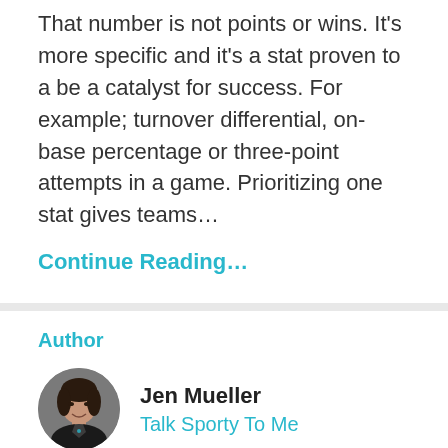That number is not points or wins. It's more specific and it's a stat proven to a be a catalyst for success. For example; turnover differential, on-base percentage or three-point attempts in a game. Prioritizing one stat gives teams...
Continue Reading...
Author
[Figure (photo): Circular headshot photo of Jen Mueller, a woman with dark hair wearing a black blazer]
Jen Mueller
Talk Sporty To Me
Through her motivational and inspiring keynote presentations, conferences, teams and...